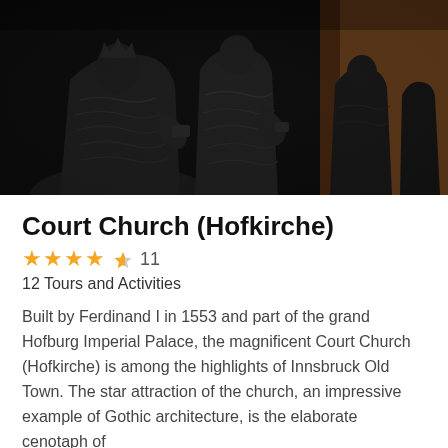[Figure (photo): Close-up photograph of dark bronze statues inside what appears to be the Court Church (Hofkirche). The statues are elaborately detailed, wearing ornate robes and armour, against an interior background with orange/brick-colored walls.]
Court Church (Hofkirche)
★★★★½  11
12 Tours and Activities
Built by Ferdinand I in 1553 and part of the grand Hofburg Imperial Palace, the magnificent Court Church (Hofkirche) is among the highlights of Innsbruck Old Town. The star attraction of the church, an impressive example of Gothic architecture, is the elaborate cenotaph of